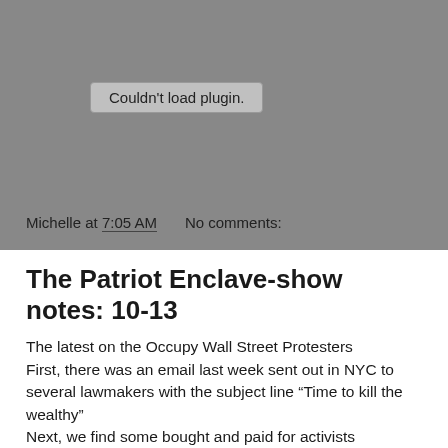[Figure (other): Gray plugin placeholder area with 'Couldn't load plugin.' message in a rounded box]
Michelle at 7:05 AM    No comments:
The Patriot Enclave-show notes: 10-13
The latest on the Occupy Wall Street Protesters First, there was an email last week sent out in NYC to several lawmakers with the subject line “Time to kill the wealthy”
Next, we find some bought and paid for activists